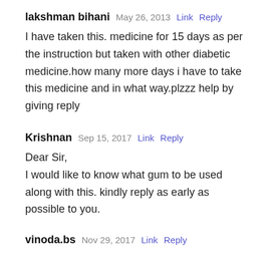lakshman bihani  May 26, 2013  Link  Reply
I have taken this. medicine for 15 days as per the instruction but taken with other diabetic medicine.how many more days i have to take this medicine and in what way.plzzz help by giving reply
Krishnan  Sep 15, 2017  Link  Reply
Dear Sir,
I would like to know what gum to be used along with this. kindly reply as early as possible to you.
vinoda.bs  Nov 29, 2017  Link  Reply